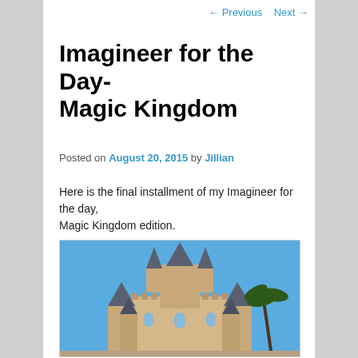← Previous   Next →
Imagineer for the Day- Magic Kingdom
Posted on August 20, 2015 by Jillian
Here is the final installment of my Imagineer for the day, Magic Kingdom edition.
[Figure (photo): Photo of Cinderella's Castle at Magic Kingdom, showing the castle's spires and towers against a blue sky.]